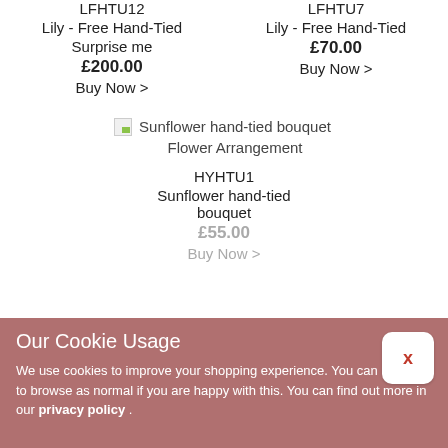LFHTU12
Lily - Free Hand-Tied
Surprise me
£200.00
Buy Now >
LFHTU7
Lily - Free Hand-Tied
£70.00
Buy Now >
[Figure (photo): Sunflower hand-tied bouquet Flower Arrangement placeholder image]
HYHTU1
Sunflower hand-tied bouquet
£55.00
Buy Now >
Our Cookie Usage
We use cookies to improve your shopping experience. You can continue to browse as normal if you are happy with this. You can find out more in our privacy policy .